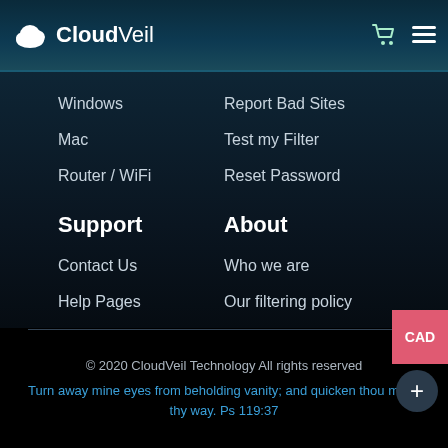CloudVeil
Windows
Report Bad Sites
Mac
Test my Filter
Router / WiFi
Reset Password
Support
About
Contact Us
Who we are
Help Pages
Our filtering policy
YouTube Access
Terms of Service
CloudVeil Messenger
Privacy Policy
Remote Support
Gospel Literature
© 2020 CloudVeil Technology All rights reserved
Turn away mine eyes from beholding vanity; and quicken thou me in thy way. Ps 119:37